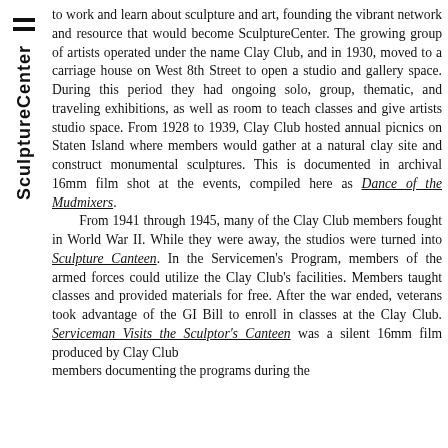to work and learn about sculpture and art, founding the vibrant network and resource that would become SculptureCenter. The growing group of artists operated under the name Clay Club, and in 1930, moved to a carriage house on West 8th Street to open a studio and gallery space. During this period they had ongoing solo, group, thematic, and traveling exhibitions, as well as room to teach classes and give artists studio space. From 1928 to 1939, Clay Club hosted annual picnics on Staten Island where members would gather at a natural clay site and construct monumental sculptures. This is documented in archival 16mm film shot at the events, compiled here as Dance of the Mudmixers. From 1941 through 1945, many of the Clay Club members fought in World War II. While they were away, the studios were turned into Sculpture Canteen. In the Servicemen's Program, members of the armed forces could utilize the Clay Club's facilities. Members taught classes and provided materials for free. After the war ended, veterans took advantage of the GI Bill to enroll in classes at the Clay Club. Serviceman Visits the Sculptor's Canteen was a silent 16mm film produced by Clay Club members documenting the programs during the...